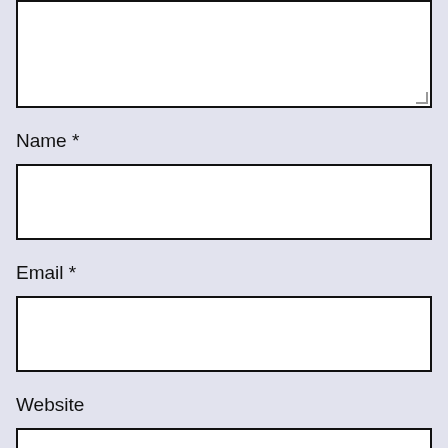[Figure (other): Empty textarea form field with resize handle in bottom-right corner]
Name *
[Figure (other): Empty text input field for Name]
Email *
[Figure (other): Empty text input field for Email]
Website
[Figure (other): Empty text input field for Website (partially visible)]